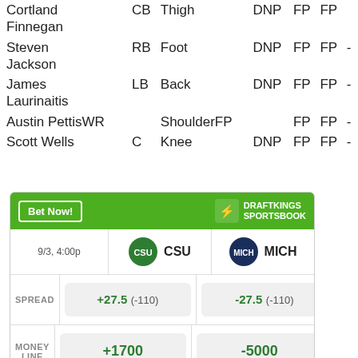| Player | Pos | Injury | W1 | W2 | W3 |  |
| --- | --- | --- | --- | --- | --- | --- |
| Cortland Finnegan | CB | Thigh | DNP | FP | FP |  |
| Steven Jackson | RB | Foot | DNP | FP | FP | - |
| James Laurinaitis | LB | Back | DNP | FP | FP | - |
| Austin Pettis | WR | Shoulder | FP | FP | FP | - |
| Scott Wells | C | Knee | DNP | FP | FP | - |
[Figure (infographic): DraftKings Sportsbook betting widget showing CSU vs MICH game on 9/3 4:00p. Spread: CSU +27.5 (-110), MICH -27.5 (-110). Money Line: CSU +1700, MICH -5000. Total: >57.5 (-110).]